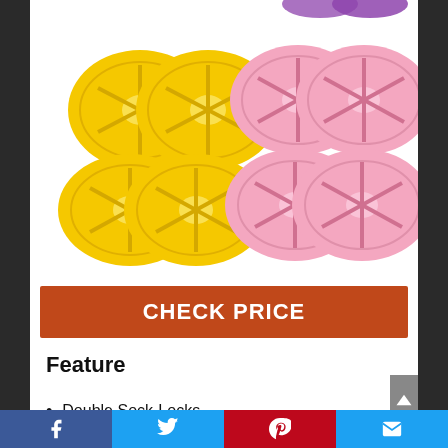[Figure (photo): Product photo showing yellow and pink double sock-locks in two rows. Top row: two yellow double sock-lock clips on the left, two pink double sock-lock clips on the right. Bottom row: two more yellow double sock-lock clips on the left, two more pink double sock-lock clips on the right. A partial purple sock-lock is visible at the very top.]
CHECK PRICE
Feature
Double Sock-Locks.
A color for each member of the family.
No moving parts or sharp edges.